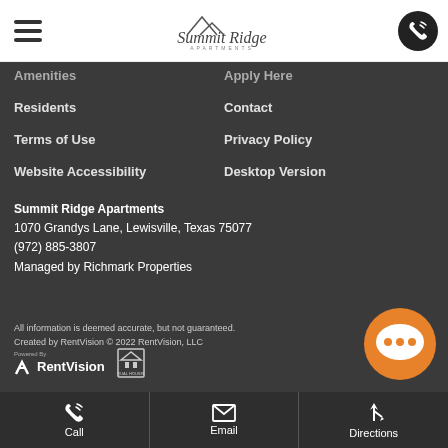Summit Ridge Apartments — navigation header with hamburger menu and phone button
Amenities
Apply Here
Residents
Contact
Terms of Use
Privacy Policy
Website Accessibility
Desktop Version
Summit Ridge Apartments
1070 Grandys Lane, Lewisville, Texas 75077
(972) 885-3807
Managed by Richmark Properties
All information is deemed accurate, but not guaranteed.
Created by RentVision © 2022 RentVision, LLC
[Figure (logo): RentVision logo and Equal Housing Opportunity logo]
[Figure (illustration): Orange chat bubble icon]
Call | Email | Directions